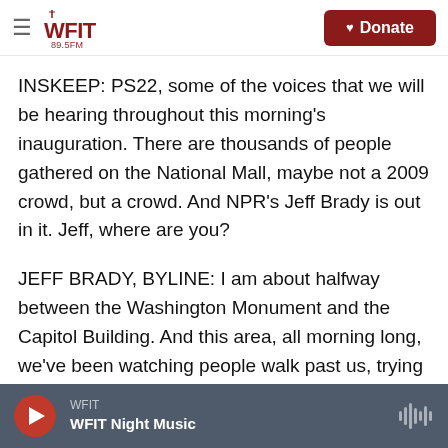WFIT 89.5FM — Donate
INSKEEP: PS22, some of the voices that we will be hearing throughout this morning's inauguration. There are thousands of people gathered on the National Mall, maybe not a 2009 crowd, but a crowd. And NPR's Jeff Brady is out in it. Jeff, where are you?
JEFF BRADY, BYLINE: I am about halfway between the Washington Monument and the Capitol Building. And this area, all morning long, we've been watching people walk past us, trying to get up as close as possible to the West Front of the Capitol. But now we're seeing those areas up near
WFIT — WFIT Night Music